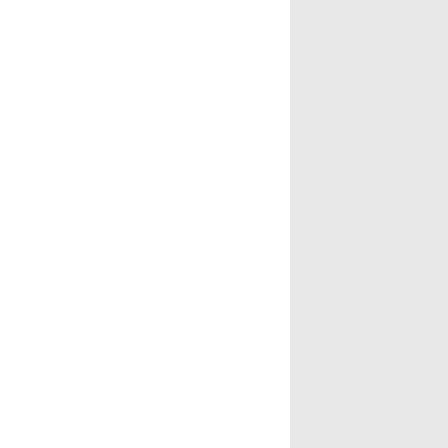the Excise revenues, has been pa... years. The original Duke of Scho... Dutchman, who fought at the b... and now, 160 years after, we are same sum to another Dutchman, payment of the above three Live bless'd, and brightly: be the there is a Power above, [mine; 2, Oh, Adeline! to guide my step... Oats....